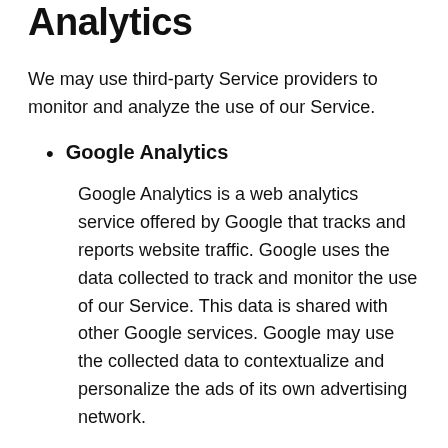Analytics
We may use third-party Service providers to monitor and analyze the use of our Service.
Google Analytics
Google Analytics is a web analytics service offered by Google that tracks and reports website traffic. Google uses the data collected to track and monitor the use of our Service. This data is shared with other Google services. Google may use the collected data to contextualize and personalize the ads of its own advertising network.
You can opt-out of having made your activity on the Service available to Google Analytics by installing the Google Analytics opt-out browser add-on. The